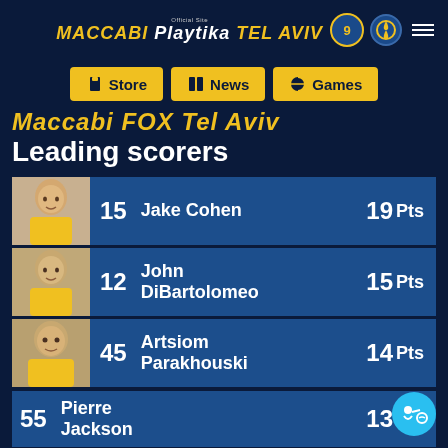Official Site MACCABI Playtika TEL AVIV
[Figure (screenshot): Navigation buttons: Store, News, Games in yellow]
Maccabi FOX Tel Aviv - Leading scorers
| # | Player | Pts |
| --- | --- | --- |
| 15 | Jake Cohen | 19 Pts |
| 12 | John DiBartolomeo | 15 Pts |
| 45 | Artsiom Parakhouski | 14 Pts |
| 55 | Pierre Jackson | 13 Pts |